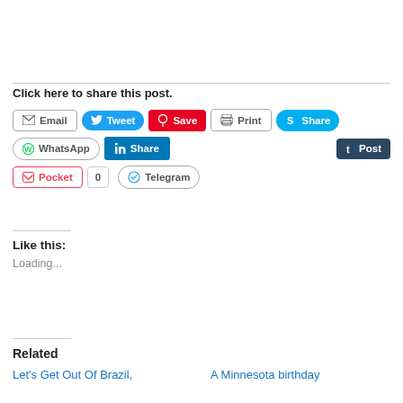Click here to share this post.
[Figure (screenshot): Social sharing buttons: Email, Tweet, Save (Pinterest), Print, Share (Skype), WhatsApp, Share (LinkedIn), Post (Tumblr), Pocket, 0, Telegram]
Like this:
Loading...
Related
Let's Get Out Of Brazil,
A Minnesota birthday